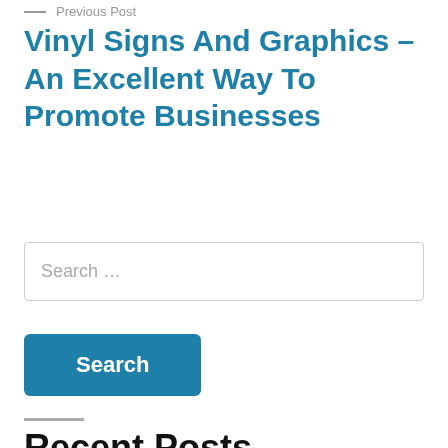Previous Post
Vinyl Signs And Graphics – An Excellent Way To Promote Businesses
Search …
Search
Recent Posts